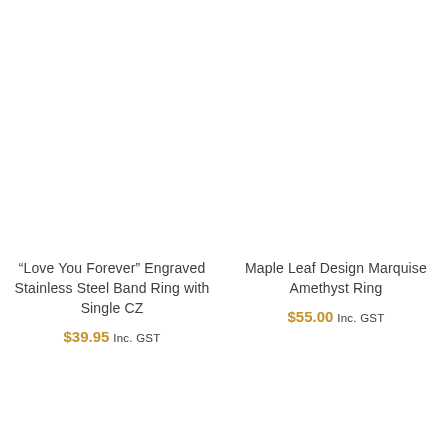“Love You Forever” Engraved Stainless Steel Band Ring with Single CZ
$39.95 Inc. GST
Maple Leaf Design Marquise Amethyst Ring
$55.00 Inc. GST